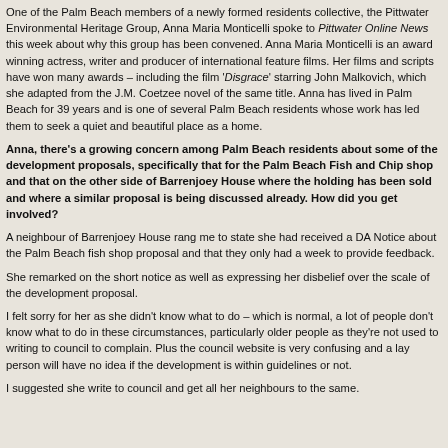One of the Palm Beach members of a newly formed residents collective, the Pittwater Environmental Heritage Group, Anna Maria Monticelli spoke to Pittwater Online News this week about why this group has been convened. Anna Maria Monticelli is an award winning actress, writer and producer of international feature films. Her films and scripts have won many awards – including the film 'Disgrace' starring John Malkovich, which she adapted from the J.M. Coetzee novel of the same title. Anna has lived in Palm Beach for 39 years and is one of several Palm Beach residents whose work has led them to seek a quiet and beautiful place as a home.
Anna, there's a growing concern among Palm Beach residents about some of the development proposals, specifically that for the Palm Beach Fish and Chip shop and that on the other side of Barrenjoey House where the holding has been sold and where a similar proposal is being discussed already. How did you get involved?
A neighbour of Barrenjoey House rang me to state she had received a DA Notice about the Palm Beach fish shop proposal and that they only had a week to provide feedback.
She remarked on the short notice as well as expressing her disbelief over the scale of the development proposal.
I felt sorry for her as she didn't know what to do – which is normal, a lot of people don't know what to do in these circumstances, particularly older people as they're not used to writing to council to complain. Plus the council website is very confusing and a lay person will have no idea if the development is within guidelines or not.
I suggested she write to council and get all her neighbours to the same.